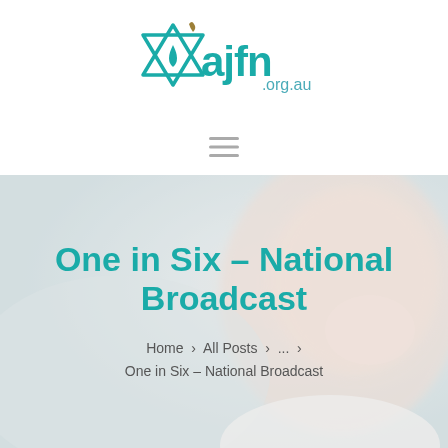[Figure (logo): AJFN logo — teal Star of David with water drop and flame, text 'ajfn' in teal with '.org.au' in grey-blue]
[Figure (other): Hamburger menu icon (three horizontal grey lines)]
[Figure (photo): Background hero image of a smiling baby with blurred light background, overlaid with semi-transparent white]
One in Six – National Broadcast
Home › All Posts › ... › One in Six – National Broadcast